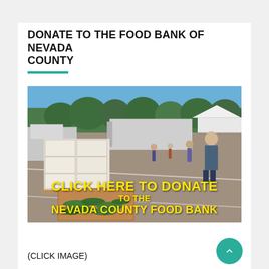DONATE TO THE FOOD BANK OF NEVADA COUNTY
[Figure (photo): Outdoor food bank distribution event in a parking lot. Stacked cardboard boxes on a pallet in the foreground, a box of zucchini/squash in front, people distributing food, a white truck/trailer in the background, white event tents, and trees under a blue sky. Yellow bold text overlay reads: CLICK HERE TO DONATE TO THE NEVADA COUNTY FOOD BANK]
(CLICK IMAGE)